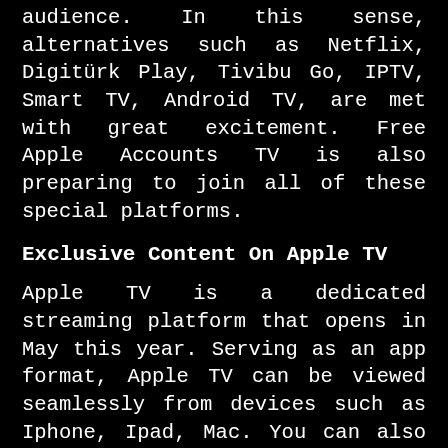audience. In this sense, alternatives such as Netflix, Digitürk Play, Tivibu Go, IPTV, Smart TV, Android TV, are met with great excitement. Free Apple Accounts TV is also preparing to join all of these special platforms.
Exclusive Content On Apple TV
Apple TV is a dedicated streaming platform that opens in May this year. Serving as an app format, Apple TV can be viewed seamlessly from devices such as Iphone, Ipad, Mac. You can also get Apple TV service by leveraging smart television technologies. If you want to enjoy Apple TV seamlessly, you have to pay a certain fee. There are many features that make Apple TV attractive and very special. In addition, the presence of some channels exclusively